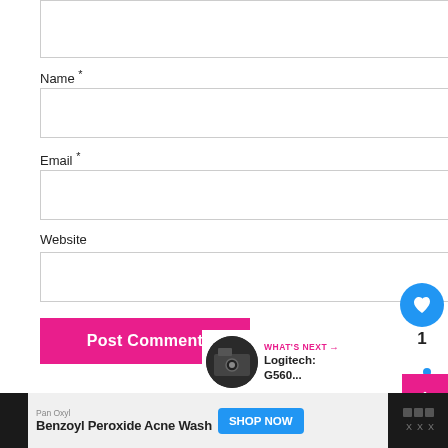Name *
Email *
Website
Post Comment
SOCIAL
[Figure (screenshot): Social media icons: Facebook, Twitter, Google+, RSS feed]
[Figure (infographic): Heart/like widget with count 1, blue circle with heart icon]
[Figure (screenshot): What's Next panel with Logitech G560 thumbnail]
[Figure (screenshot): Advertisement bar for Pan Oxyl Benzoyl Peroxide Acne Wash with Shop Now button]